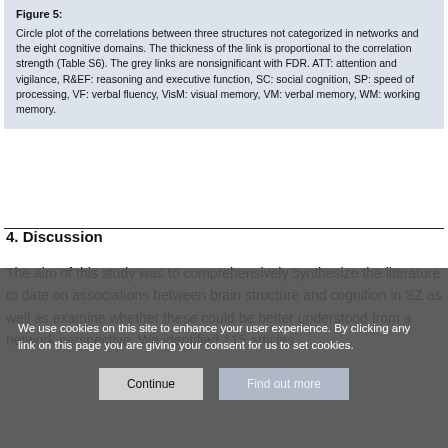Figure 5: Circle plot of the correlations between three structures not categorized in networks and the eight cognitive domains. The thickness of the link is proportional to the correlation strength (Table S6). The grey links are nonsignificant with FDR. ATT: attention and vigilance, R&EF: reasoning and executive function, SC: social cognition, SP: speed of processing, VF: verbal fluency, VisM: visual memory, VM: verbal memory, WM: working memory.
4. Discussion
The aim of this study was to comprehensively synthesize the literature to date on associations between brain structure and cognition in SZ as well as examine whether these could be better understood from a network perspective. We identified 115 articles
We use cookies on this site to enhance your user experience. By clicking any link on this page you are giving your consent for us to set cookies.